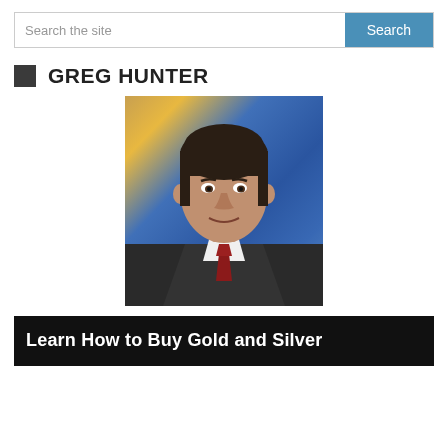Search the site | Search
GREG HUNTER
[Figure (photo): Headshot of Greg Hunter, a man in a dark suit with a red tie, in front of a blue news studio background]
Learn How to Buy Gold and Silver